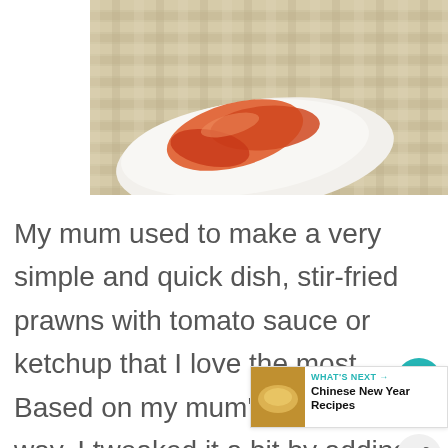[Figure (photo): A photo of cooked prawns/shrimp on a white plate placed on a woven bamboo mat background]
My mum used to make a very simple and quick dish, stir-fried prawns with tomato sauce or ketchup that I love the most. Based on my mum's cooking way, I tweaked it a bit by adding an amazing kick to this dish with Sriracha Hot Chili Sauce, since my kid has grown up, getting love to have hot foods more and more.